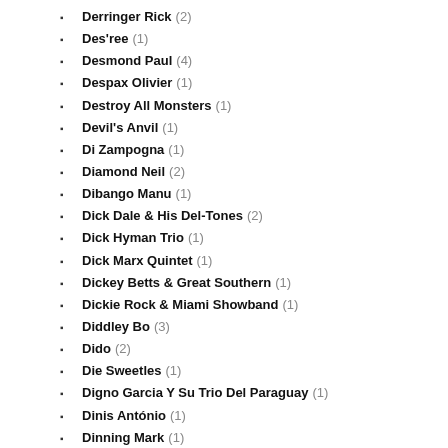Derringer Rick (2)
Des'ree (1)
Desmond Paul (4)
Despax Olivier (1)
Destroy All Monsters (1)
Devil's Anvil (1)
Di Zampogna (1)
Diamond Neil (2)
Dibango Manu (1)
Dick Dale & His Del-Tones (2)
Dick Hyman Trio (1)
Dick Marx Quintet (1)
Dickey Betts & Great Southern (1)
Dickie Rock & Miami Showband (1)
Diddley Bo (3)
Dido (2)
Die Sweetles (1)
Digno Garcia Y Su Trio Del Paraguay (1)
Dinis António (1)
Dinning Mark (1)
Dinosaur Jr. (1)